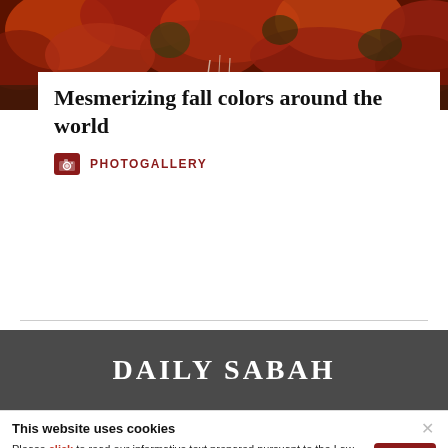[Figure (photo): Autumn foliage photo showing red and orange leaves with dark background, partially visible at top of page]
Mesmerizing fall colors around the world
PHOTOGALLERY
[Figure (logo): Daily Sabah website logo in white bold serif text on dark grey background bar]
This website uses cookies
Please click to read our informative text prepared pursuant to the Law on the Protection of Personal Data No. 6698 and to get information about the cookies used on our